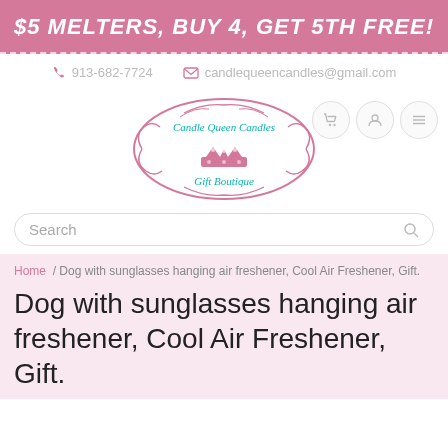$5 MELTERS, BUY 4, GET 5TH FREE!
913-682-7724   candlequeencandles@gmail.com
[Figure (logo): Candle Queen Candles Gift Boutique logo — ornate pink oval frame with crown, teal script text reading 'Candle Queen Candles' and 'Gift Boutique']
Search
Home / Dog with sunglasses hanging air freshener, Cool Air Freshener, Gift.
Dog with sunglasses hanging air freshener, Cool Air Freshener, Gift.